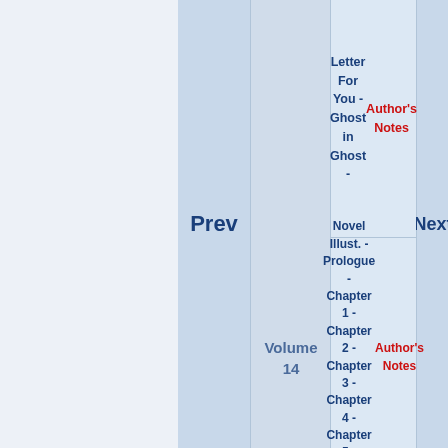|  | Prev | Volume | Chapters | Next |
| --- | --- | --- | --- | --- |
|  |  |  | Letter For You - Ghost in Ghost - Author's Notes |  |
|  |  | Volume 14 | Novel Illust. - Prologue - Chapter 1 - Chapter 2 - Chapter 3 - Chapter 4 - Chapter 5 - Epilogue - Author's Notes | Next |
|  |  | Volume 15 | Novel Illust. - Prologue - Chapter 1 - Chapter 2 - Chapter 3 - Chapter 4 - Chapter 5 - Epilogue - |  |